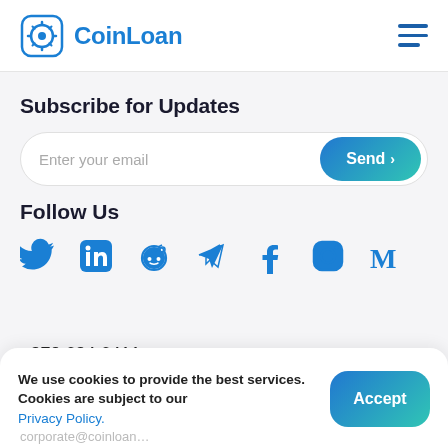CoinLoan
Subscribe for Updates
Enter your email | Send ›
Follow Us
[Figure (infographic): Row of 7 social media icons: Twitter, LinkedIn, Reddit, Telegram, Facebook, Instagram, Medium — all in blue]
+372 634 6411
We use cookies to provide the best services. Cookies are subject to our Privacy Policy. | Accept
corporate@coinloan…